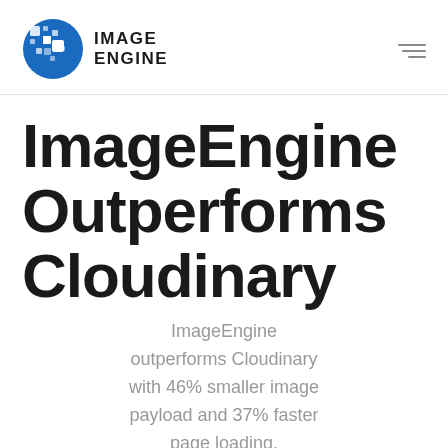IMAGE ENGINE
ImageEngine Outperforms Cloudinary
ImageEngine outperforms Cloudinary with 46% smaller image payload and 37% faster page loading. ImageEngine does this